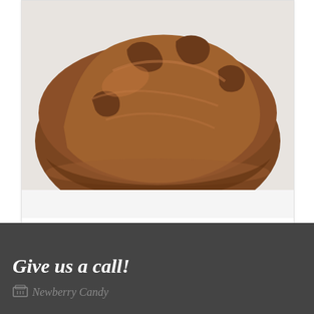[Figure (photo): Close-up photo of a Rocky Road milk chocolate candy with walnuts, showing a lumpy brown chocolate-covered piece on a white background]
Rocky Road Milk Chocolate with Walnuts
NOT RATED
$2.25
Give us a call!
Newberry Candy